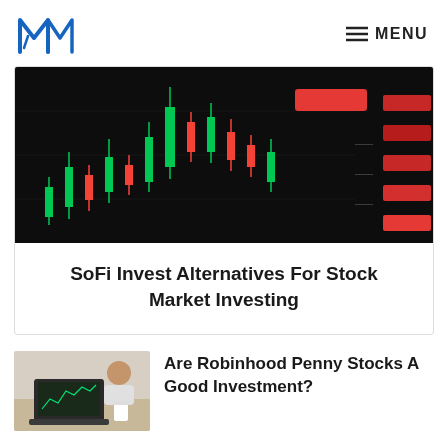MENU
[Figure (screenshot): Candlestick stock chart on dark background with green and red candles, red price ticker boxes on right side]
SoFi Invest Alternatives For Stock Market Investing
[Figure (photo): Person working on laptop with financial charts on screen]
Are Robinhood Penny Stocks A Good Investment?